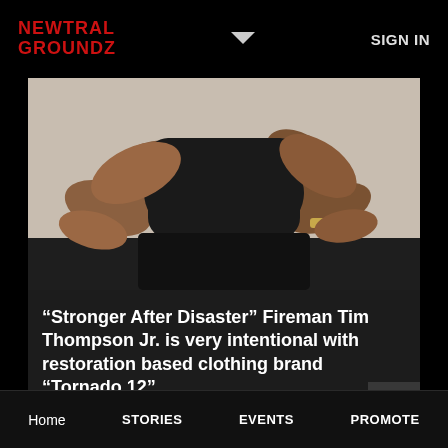NEWTRAL GROUNDZ   SIGN IN
[Figure (photo): Photo of a muscular person in black clothing, crouching and leaning forward showing arms and upper body against a light gray background]
“Stronger After Disaster” Fireman Tim Thompson Jr. is very intentional with restoration based clothing brand “Tornado 12”
2 months ago
Home   STORIES   EVENTS   PROMOTE